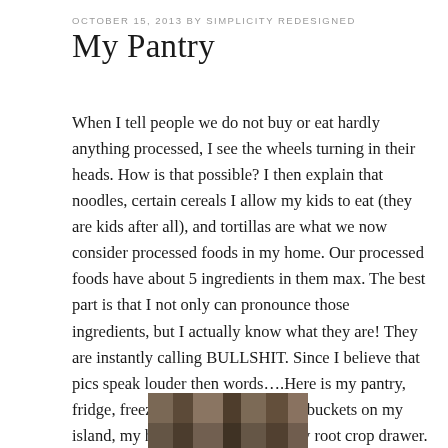OCTOBER 15, 2013 BY SIMPLICITY REDESIGNED
My Pantry
When I tell people we do not buy or eat hardly anything processed, I see the wheels turning in their heads. How is that possible? I then explain that noodles, certain cereals I allow my kids to eat (they are kids after all), and tortillas are what we now consider processed foods in my home. Our processed foods have about 5 ingredients in them max. The best part is that I not only can pronounce those ingredients, but I actually know what they are! They are instantly calling BULLSHIT. Since I believe that pics speak louder then words….Here is my pantry, fridge, freezer, my fruit and veggie buckets on my island, my herbs and spices, and my root crop drawer. Oh, I almost forgot to mention that this is 2 days into a 7 day menu for us.
[Figure (photo): Partial image of pantry or food storage, partially visible at bottom of page]